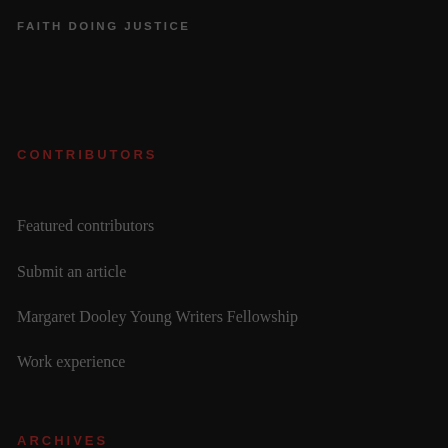FAITH DOING JUSTICE
CONTRIBUTORS
Featured contributors
Submit an article
Margaret Dooley Young Writers Fellowship
Work experience
ARCHIVES
Web
PDFs
ABOUT US
Home
About